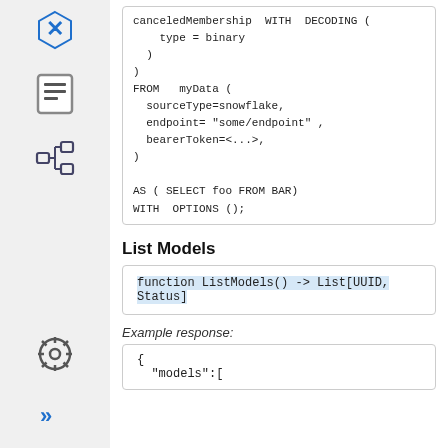[Figure (screenshot): Sidebar with icons: blue X logo, document icon, tree/hierarchy icon, gear icon, double-arrow icon]
canceledMembership WITH DECODING (
    type = binary
  )
)
FROM   myData (
  sourceType=snowflake,
  endpoint= "some/endpoint" ,
  bearerToken=<...>,
)

AS ( SELECT foo FROM BAR)
WITH  OPTIONS ();
List Models
function ListModels() -> List[UUID, Status]
Example response:
{
  "models":[